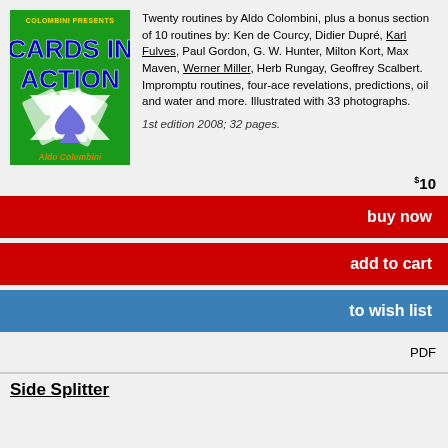[Figure (illustration): Book cover for 'Cards in Action' by Aldo Colombini — green background with 'COLOMBINI PRESENTS' at top, title 'CARDS IN ACTION' in large blue text, white X pattern with a blue spade symbol in the center, and author name 'Aldo Colombini' in orange at the bottom.]
Twenty routines by Aldo Colombini, plus a bonus section of 10 routines by: Ken de Courcy, Didier Dupré, Karl Fulves, Paul Gordon, G. W. Hunter, Milton Kort, Max Maven, Werner Miller, Herb Rungay, Geoffrey Scalbert. Impromptu routines, four-ace revelations, predictions, oil and water and more. Illustrated with 33 photographs.
1st edition 2008; 32 pages.
$10
buy now
add to cart
to wish list
PDF
Side Splitter